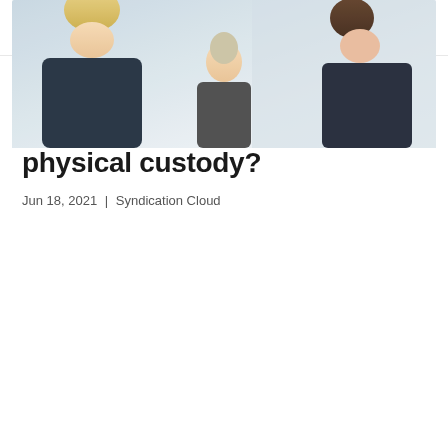Syndication Cloud™
How is California child support calculated when there is joint physical custody?
Jun 18, 2021 | Syndication Cloud
[Figure (photo): A photo showing adults and a child in a meeting or consultation setting, likely depicting a custody or legal discussion scenario.]